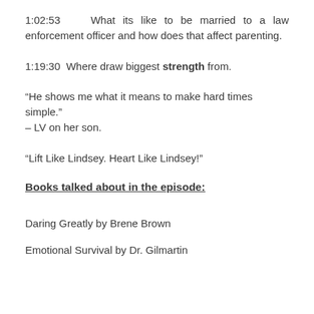1:02:53   What its like to be married to a law enforcement officer and how does that affect parenting.
1:19:30  Where draw biggest strength from.
“He shows me what it means to make hard times simple.” – LV on her son.
“Lift Like Lindsey. Heart Like Lindsey!”
Books talked about in the episode:
Daring Greatly by Brene Brown
Emotional Survival by Dr. Gilmartin